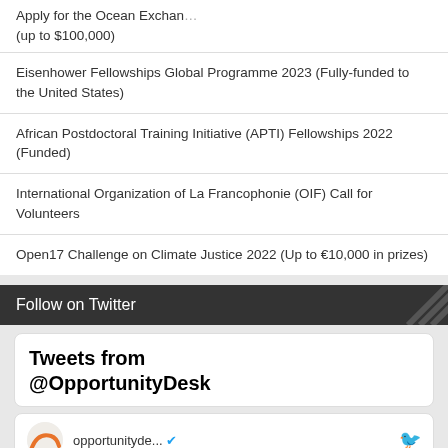English (language selector)
Apply for the Ocean Exchange… (up to $100,000)
Eisenhower Fellowships Global Programme 2023 (Fully-funded to the United States)
African Postdoctoral Training Initiative (APTI) Fellowships 2022 (Funded)
International Organization of La Francophonie (OIF) Call for Volunteers
Open17 Challenge on Climate Justice 2022 (Up to €10,000 in prizes)
Follow on Twitter
Tweets from @OpportunityDesk
opportunityde... ✓